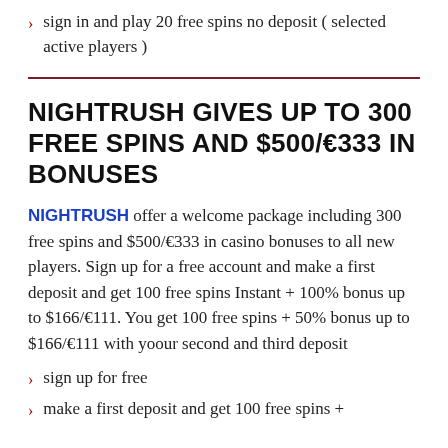sign in and play 20 free spins no deposit ( selected active players )
NIGHTRUSH GIVES UP TO 300 FREE SPINS AND $500/€333 IN BONUSES
NIGHTRUSH offer a welcome package including 300 free spins and $500/€333 in casino bonuses to all new players. Sign up for a free account and make a first deposit and get 100 free spins Instant + 100% bonus up to $166/€111. You get 100 free spins + 50% bonus up to $166/€111 with yoour second and third deposit
sign up for free
make a first deposit and get 100 free spins +